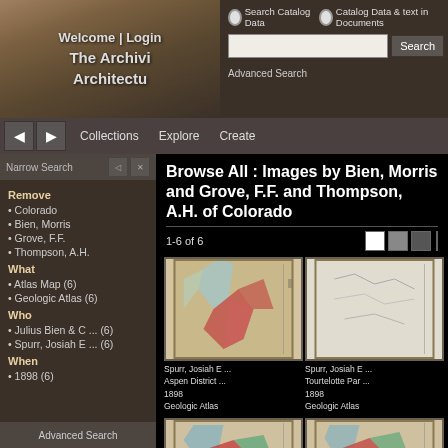Welcome | Login | The Archivi Architectu
Browse All : Images by Bien, Morris and Grove, F.F. and Thompson, A.H. of Colorado
1-6 of 6
Remove
Colorado
Bien, Morris
Grove, F.F.
Thompson, A.H.
What
Atlas Map (6)
Geologic Atlas (6)
Who
Julius Bien & C ... (6)
Spurr, Josiah E ... (6)
When
1898 (6)
[Figure (screenshot): Thumbnail of Aspen District map, Spurr Josiah E, 1898, Geologic Atlas]
Spurr, Josiah E ...
Aspen District ...
1898
Geologic Atlas
[Figure (screenshot): Thumbnail of Tourtelotte Par map, Spurr Josiah E, 1898, Geologic Atlas]
Spurr, Josiah E ...
Tourtelotte Par ...
1898
Geologic Atlas
[Figure (screenshot): Thumbnail of third map item partial view]
[Figure (screenshot): Thumbnail of fourth map item partial view]
Advanced Search